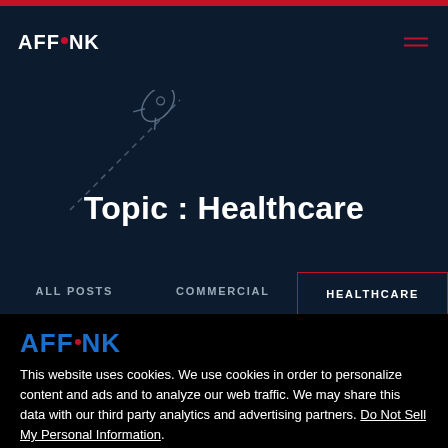AFFLINK
Topic : Healthcare
All Posts | Commercial | Healthcare
[Figure (logo): AFFLINK logo in blue on black background]
This website uses cookies. We use cookies in order to personalize content and ads and to analyze our web traffic. We may share this data with our third party analytics and advertising partners. Do Not Sell My Personal Information.